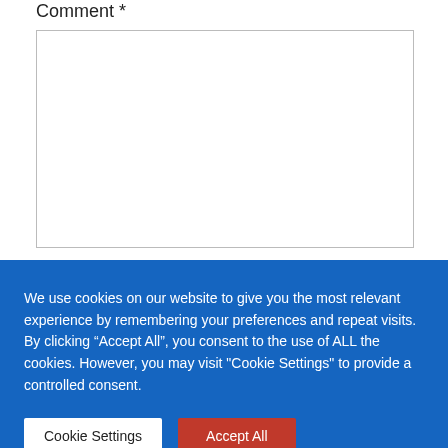Comment *
[Figure (other): Empty comment text input box with light gray border]
We use cookies on our website to give you the most relevant experience by remembering your preferences and repeat visits. By clicking “Accept All”, you consent to the use of ALL the cookies. However, you may visit "Cookie Settings" to provide a controlled consent.
Cookie Settings
Accept All